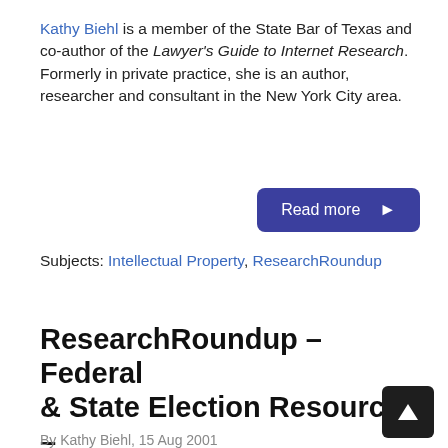Kathy Biehl is a member of the State Bar of Texas and co-author of the Lawyer's Guide to Internet Research. Formerly in private practice, she is an author, researcher and consultant in the New York City area.
Read more ►
Subjects: Intellectual Property, ResearchRoundup
ResearchRoundup – Federal & State Election Resources – Updated
By Kathy Biehl, 15 Aug 2001
Kathy Biehl is a member of the State Bar of Texas and co-author of the Lawyer's Guide to Internet Resea...